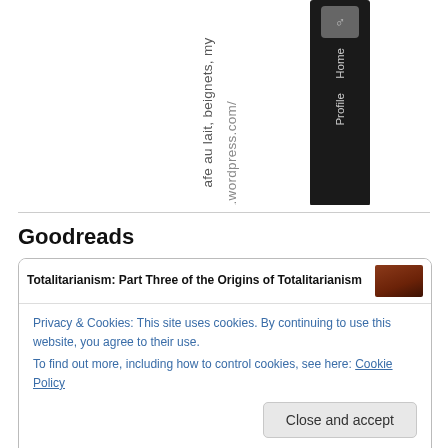[Figure (screenshot): Rotated WordPress blog URL text reading 'cafe au lait, beignets, my' and 'eet.wordpress.com/' with a dark navigation sidebar showing Home and Profile links]
Goodreads
[Figure (screenshot): Goodreads widget box showing book entry 'Totalitarianism: Part Three of the Origins of Totalitarianism' with book cover, a cookie consent notice with 'Close and accept' button, and a 'Juniper Wiles' book entry at the bottom]